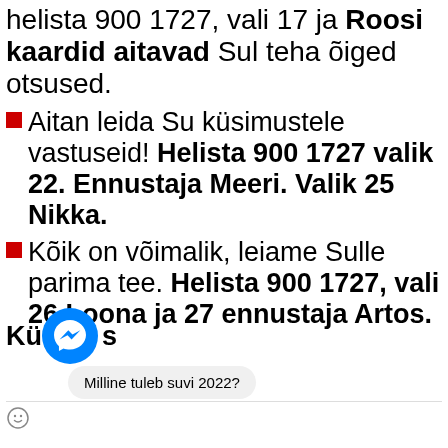helista 900 1727, vali 17 ja Roosi kaardid aitavad Sul teha õiged otsused.
Aitan leida Su küsimustele vastuseid! Helista 900 1727 valik 22. Ennustaja Meeri. Valik 25 Nikka.
Kõik on võimalik, leiame Sulle parima tee. Helista 900 1727, vali 26 Loona ja 27 ennustaja Artos.
[Figure (screenshot): Facebook Messenger chat interface showing text 'Milline tuleb suvi 2022?' with messenger icon and 'Küsi' label]
Milline tuleb suvi 2022?